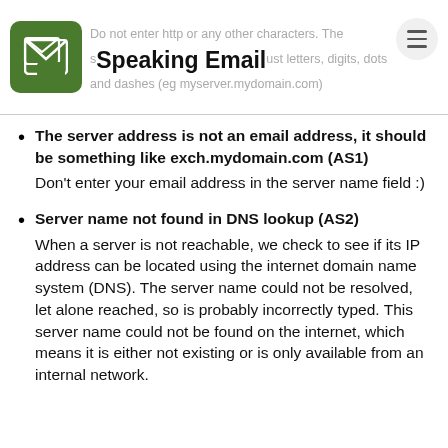Do not enter http or any other characters. The server should be just letters, digits, dots and dashes (eg myserver.mydomain.com)
Speaking Email
The server address is not an email address, it should be something like exch.mydomain.com (AS1)
Don't enter your email address in the server name field :)
Server name not found in DNS lookup (AS2)
When a server is not reachable, we check to see if its IP address can be located using the internet domain name system (DNS). The server name could not be resolved, let alone reached, so is probably incorrectly typed. This server name could not be found on the internet, which means it is either not existing or is only available from an internal network.